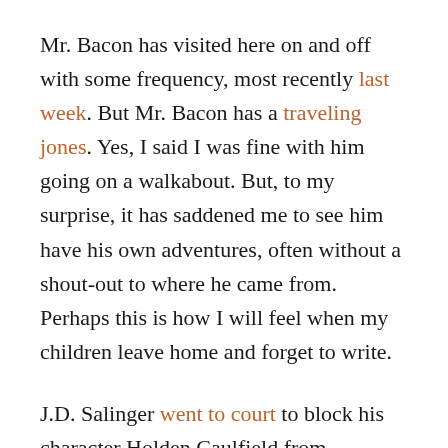Mr. Bacon has visited here on and off with some frequency, most recently last week. But Mr. Bacon has a traveling jones. Yes, I said I was fine with him going on a walkabout. But, to my surprise, it has saddened me to see him have his own adventures, often without a shout-out to where he came from. Perhaps this is how I will feel when my children leave home and forget to write.
J.D. Salinger went to court to block his character Holden Caulfield from appearing in another book. While Mr. Bacon as a toy came from Think Geek, Mr. Bacon as a blog character was created here. But it seems his spirit is too large to be contained. I don't own him anymore. I wish him the best of luck as he continues to make appearances on other writers' blogs